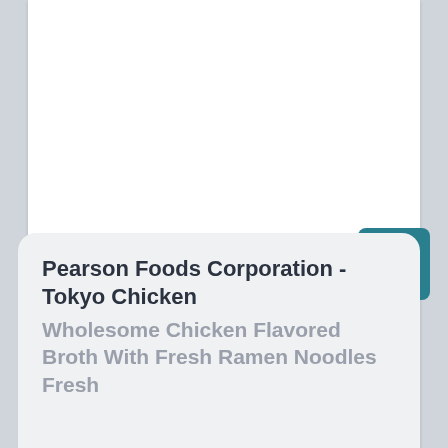[Figure (screenshot): A white card area on a grey background, mostly blank upper portion of a webpage or app screen]
Pearson Foods Corporation - Tokyo Chicken Wholesome Chicken Flavored Broth With Fresh Ramen Noodles Fresh